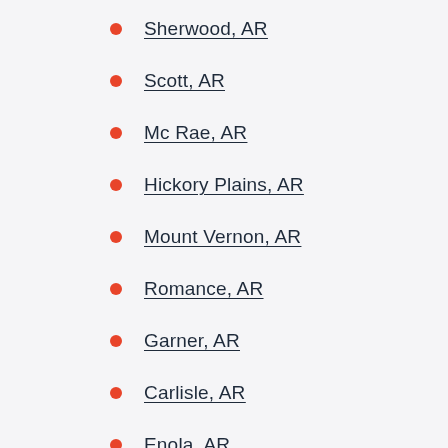Sherwood, AR
Scott, AR
Mc Rae, AR
Hickory Plains, AR
Mount Vernon, AR
Romance, AR
Garner, AR
Carlisle, AR
Enola, AR